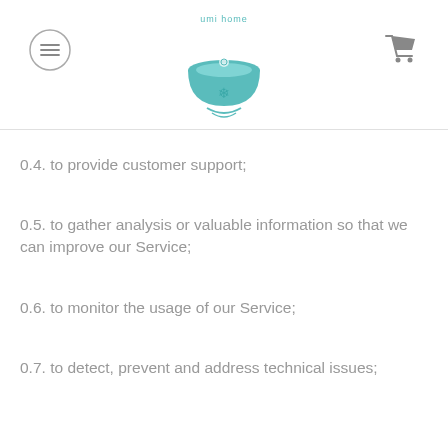umi home logo with menu and cart icons
0.4. to provide customer support;
0.5. to gather analysis or valuable information so that we can improve our Service;
0.6. to monitor the usage of our Service;
0.7. to detect, prevent and address technical issues;